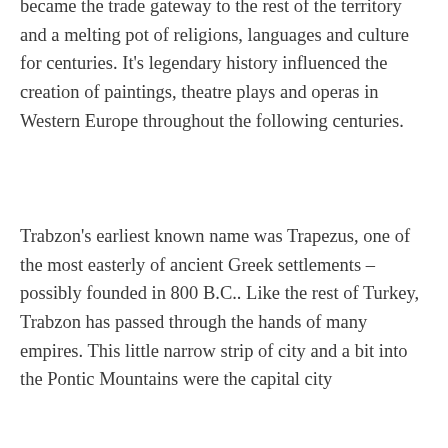became the trade gateway to the rest of the territory and a melting pot of religions, languages and culture for centuries. It's legendary history influenced the creation of paintings, theatre plays and operas in Western Europe throughout the following centuries.
Trabzon's earliest known name was Trapezus, one of the most easterly of ancient Greek settlements – possibly founded in 800 B.C.. Like the rest of Turkey, Trabzon has passed through the hands of many empires. This little narrow strip of city and a bit into the Pontic Mountains were the capital city